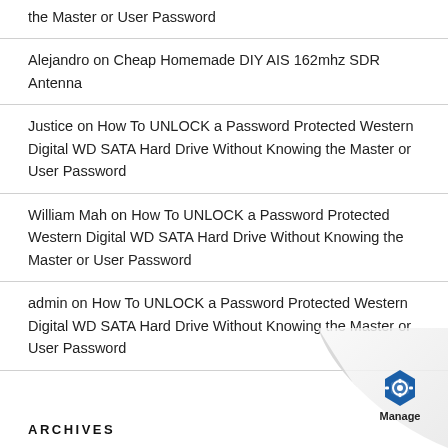the Master or User Password
Alejandro on Cheap Homemade DIY AIS 162mhz SDR Antenna
Justice on How To UNLOCK a Password Protected Western Digital WD SATA Hard Drive Without Knowing the Master or User Password
William Mah on How To UNLOCK a Password Protected Western Digital WD SATA Hard Drive Without Knowing the Master or User Password
admin on How To UNLOCK a Password Protected Western Digital WD SATA Hard Drive Without Knowing the Master or User Password
ARCHIVES
[Figure (logo): Blue hexagonal Manage logo with page curl effect in bottom right corner]